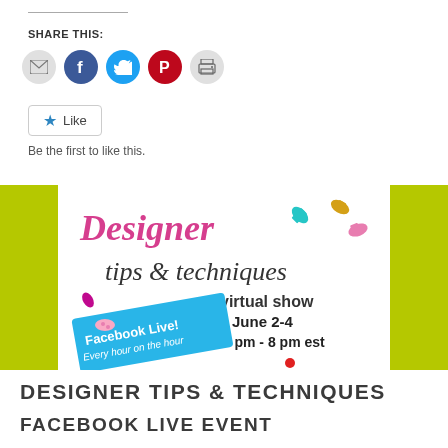SHARE THIS:
[Figure (infographic): Social sharing icons row: email (grey circle), Facebook (blue circle), Twitter (cyan circle), Pinterest (red circle), print (grey circle)]
[Figure (infographic): Like button with star icon and text 'Like'. Below: 'Be the first to like this.']
[Figure (infographic): Banner for Designer Tips & Techniques virtual show. Facebook Live! Every hour on the hour. June 2-4, 12 pm - 8 pm est. Lime green side panels, candy decorations.]
DESIGNER TIPS & TECHNIQUES
FACEBOOK LIVE EVENT